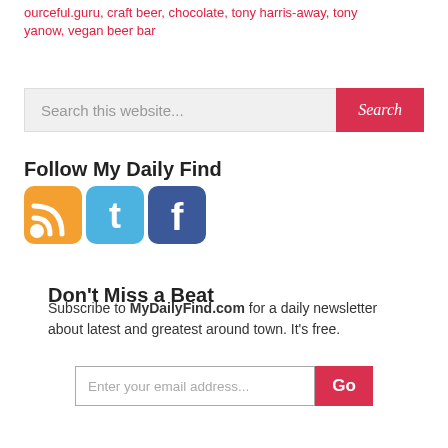...ourceful.guru, craft beer, chocolate, tony harris-away, tony yanow, vegan beer bar
Follow My Daily Find
[Figure (illustration): Three social media icons: RSS (orange), Twitter (blue), Facebook (blue)]
Don't Miss a Beat
Subscribe to MyDailyFind.com for a daily newsletter about latest and greatest around town. It's free.